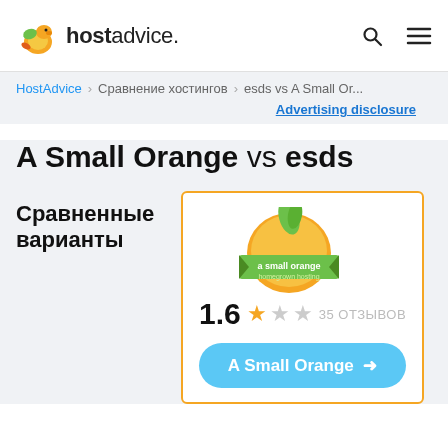hostadvice. [search icon] [menu icon]
HostAdvice > Сравнение хостингов > esds vs A Small Or...
Advertising disclosure
A Small Orange vs esds
Сравненные варианты
[Figure (logo): A Small Orange logo with orange fruit and green leaf, rating 1.6, 35 отзывов, button 'A Small Orange']